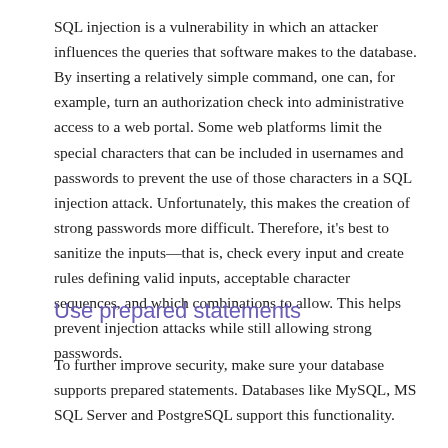SQL injection is a vulnerability in which an attacker influences the queries that software makes to the database. By inserting a relatively simple command, one can, for example, turn an authorization check into administrative access to a web portal. Some web platforms limit the special characters that can be included in usernames and passwords to prevent the use of those characters in a SQL injection attack. Unfortunately, this makes the creation of strong passwords more difficult. Therefore, it's best to sanitize the inputs—that is, check every input and create rules defining valid inputs, acceptable character sequences, and which combinations to allow. This helps prevent injection attacks while still allowing strong passwords.
Use prepared statements
To further improve security, make sure your database supports prepared statements. Databases like MySQL, MS SQL Server and PostgreSQL support this functionality.